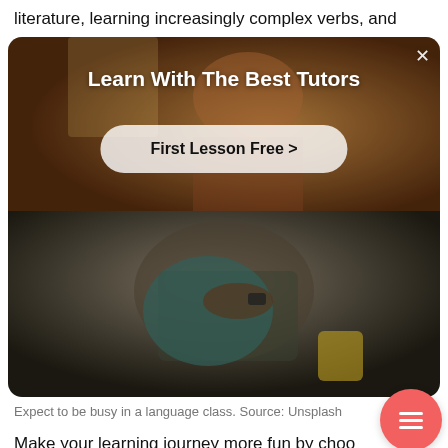literature, learning increasingly complex verbs, and
[Figure (screenshot): Advertisement overlay showing 'Learn With The Best Tutors' with a 'First Lesson Free >' button, over a background photo of a classroom scene with a person in a red shirt, and below that a photo of a person in a teal shirt writing.]
Expect to be busy in a language class. Source: Unsplash
Make your learning journey more fun by choo language you will be motivated to learn and